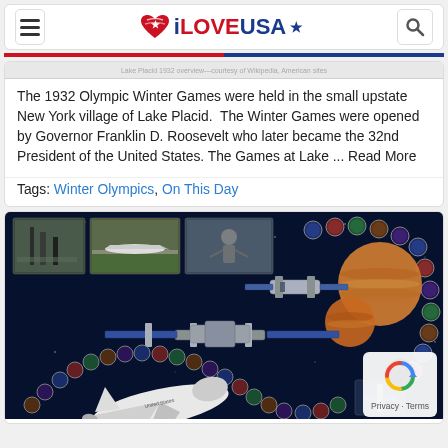iLOVEUSA
The 1932 Olympic Winter Games were held in the small upstate New York village of Lake Placid.  The Winter Games were opened by Governor Franklin D. Roosevelt who later became the 32nd President of the United States. The Games at Lake ... Read More
Tags: Winter Olympics, On This Day
[Figure (photo): NASA space exploration collage showing space shuttle, International Space Station, Hubble telescope, planets, and mission patches on a dark space background]